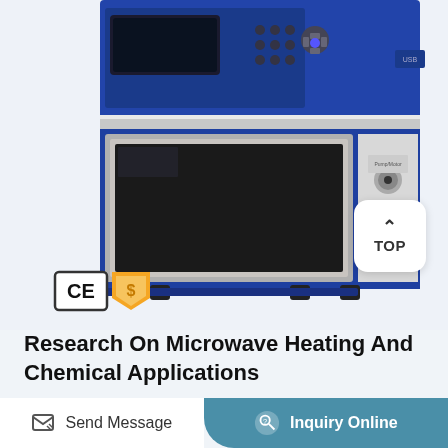[Figure (photo): Blue and silver microwave heating equipment/reactor for laboratory chemical applications, showing control panel on top and oven chamber below with door and side panel controls including knob, red LED display, and switch. CE certification mark and gold supplier badge visible in lower left of image area.]
Research On Microwave Heating And Chemical Applications
Our C-Wave continuous flow microwave technology
Send Message  |  Inquiry Online